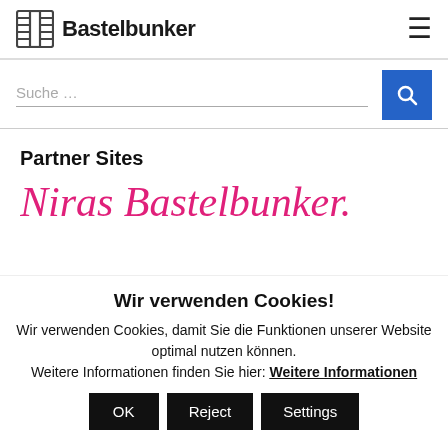Bastelbunker
Suche …
Partner Sites
[Figure (illustration): Niras Bastelbunker logo in pink italic script font]
Wir verwenden Cookies!
Wir verwenden Cookies, damit Sie die Funktionen unserer Website optimal nutzen können. Weitere Informationen finden Sie hier: Weitere Informationen
OK | Reject | Settings